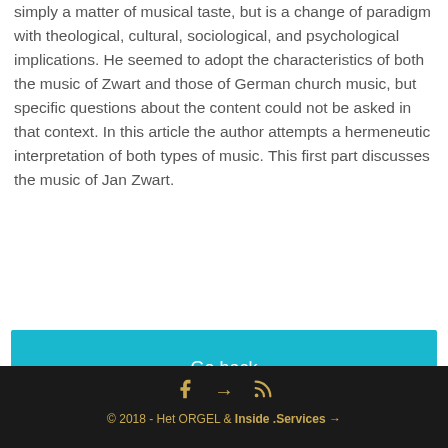simply a matter of musical taste, but is a change of paradigm with theological, cultural, sociological, and psychological implications. He seemed to adopt the characteristics of both the music of Zwart and those of German church music, but specific questions about the content could not be asked in that context. In this article the author attempts a hermeneutic interpretation of both types of music. This first part discusses the music of Jan Zwart.
Go back
© 2018 - Het ORGEL & Inside .Services →